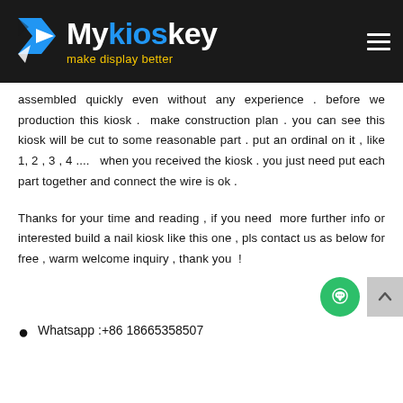Mykioskey - make display better
assembled quickly even without any experience . before we production this kiosk .  make construction plan . you can see this kiosk will be cut to some reasonable part . put an ordinal on it , like 1, 2 , 3 , 4 ....   when you received the kiosk . you just need put each part together and connect the wire is ok .
Thanks for your time and reading , if you need  more further info or interested build a nail kiosk like this one , pls contact us as below for free , warm welcome inquiry , thank you  !
Whatsapp :+86 18665358507